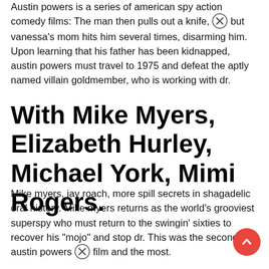Austin powers is a series of american spy action comedy films: The man then pulls out a knife, but vanessa's mom hits him several times, disarming him. Upon learning that his father has been kidnapped, austin powers must travel to 1975 and defeat the aptly named villain goldmember, who is working with dr.
With Mike Myers, Elizabeth Hurley, Michael York, Mimi Rogers.
Mike myers, jay roach, more spill secrets in shagadelic oral history. Mike myers returns as the world's grooviest superspy who must return to the swingin' sixties to recover his "mojo" and stop dr. This was the second austin powers film and the most.